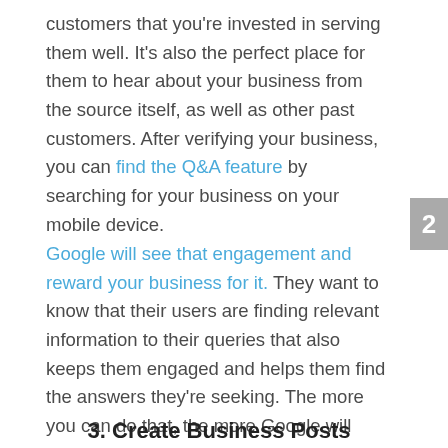customers that you're invested in serving them well. It's also the perfect place for them to hear about your business from the source itself, as well as other past customers. After verifying your business, you can find the Q&A feature by searching for your business on your mobile device.
Google will see that engagement and reward your business for it. They want to know that their users are finding relevant information to their queries that also keeps them engaged and helps them find the answers they're seeking. The more you can do that, the more Google will note your business to be of worth and include it higher in results more frequently..
3. Create Business Posts